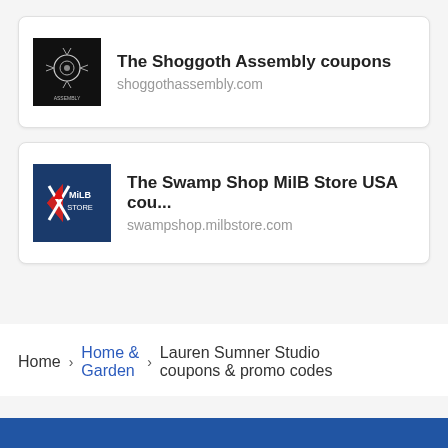[Figure (logo): Shoggoth Assembly logo - black square with circular organism illustration and text]
The Shoggoth Assembly coupons
shoggothassembly.com
[Figure (logo): MiLB Store logo - dark blue square with red, white and blue baseball logo and MiLB STORE text]
The Swamp Shop MilB Store USA cou...
swampshop.milbstore.com
Home > Home & Garden > Lauren Sumner Studio coupons & promo codes